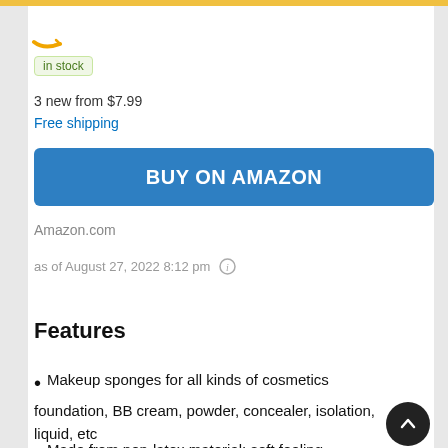[Figure (logo): Partial Amazon logo crescent/smile arc in yellow]
in stock
3 new from $7.99
Free shipping
[Figure (other): BUY ON AMAZON button — blue rectangle with white bold text]
Amazon.com
as of August 27, 2022 8:12 pm ⓘ
Features
Makeup sponges for all kinds of cosmetics foundation, BB cream, powder, concealer, isolation, liquid, etc
Made from non-latex material; soft feeling